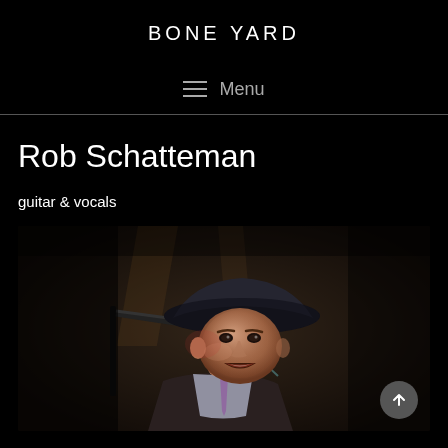BONE YARD
☰  Menu
Rob Schatteman
guitar & vocals
[Figure (photo): A man wearing a dark fedora hat singing into a microphone on stage, dramatic dark lighting, performing live music]